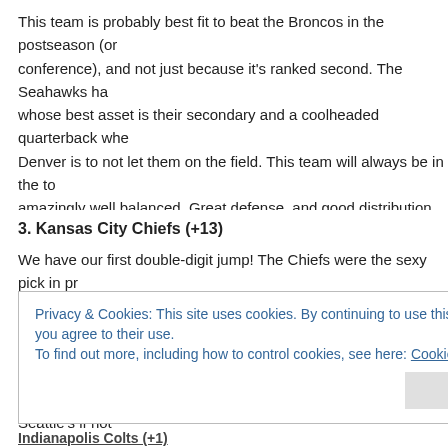This team is probably best fit to beat the Broncos in the postseason (or conference), and not just because it's ranked second. The Seahawks ha whose best asset is their secondary and a coolheaded quarterback whe Denver is to not let them on the field. This team will always be in the to amazingly well balanced. Great defense, and good distribution of wher it off to feature back Marshawn Lynch.
3. Kansas City Chiefs (+13)
We have our first double-digit jump! The Chiefs were the sexy pick in pr from a morbid 2-14 season last year, but no one could have predicted a best bet to beat Denver in the AFC playoffs, only because it's a slightly le Seahawks. Kansas City's defense is playing just as well as Seattle's if not the offensive side of the ball. Say what you want about Andy Reid's gam me some time, I can say a lot) but this season he has remained relative
Privacy & Cookies: This site uses cookies. By continuing to use this website, you agree to their use.
To find out more, including how to control cookies, see here: Cookie Policy
Indianapolis Colts (+1)